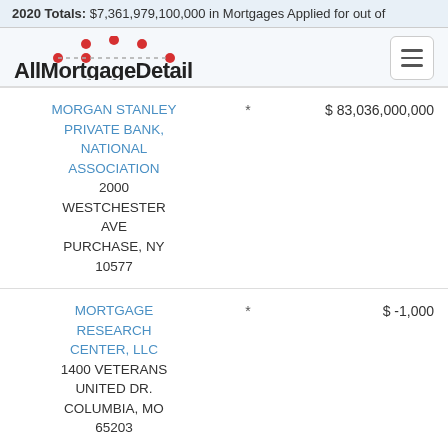2020 Totals: $7,361,979,100,000 in Mortgages Applied for out of
[Figure (logo): AllMortgageDetail logo with red dots above text]
| Lender |  | Amount |
| --- | --- | --- |
| MORGAN STANLEY PRIVATE BANK, NATIONAL ASSOCIATION
2000 WESTCHESTER AVE
PURCHASE, NY 10577 | * | $ 83,036,000,000 |
| MORTGAGE RESEARCH CENTER, LLC
1400 VETERANS UNITED DR.
COLUMBIA, MO 65203 | * | $ -1,000 |